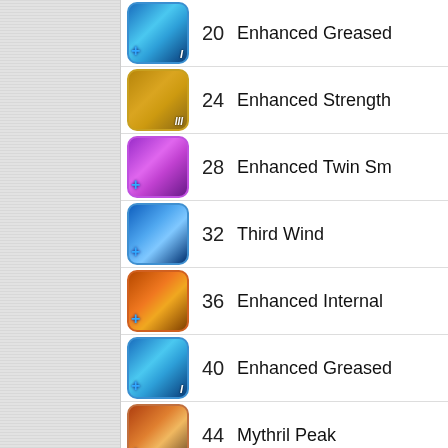| Icon | Level | Skill Name |
| --- | --- | --- |
| [icon] | 20 | Enhanced Greased |
| [icon] | 24 | Enhanced Strength |
| [icon] | 28 | Enhanced Twin Sm |
| [icon] | 32 | Third Wind |
| [icon] | 36 | Enhanced Internal |
| [icon] | 40 | Enhanced Greased |
| [icon] | 44 | Mythril Peak |
| [icon] | 48 | Enhanced Mantra |